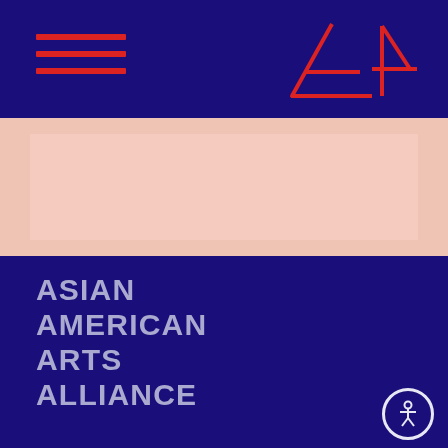[Figure (logo): Navigation bar with hamburger menu (three red horizontal lines) on left and A4 geometric logo in red on right, on dark purple/navy background]
[Figure (other): Peach/salmon colored horizontal banner strip]
ASIAN AMERICAN ARTS ALLIANCE
COMMUNITY LOG IN / JOIN
STAY UP TO DATE!
ENTER YOUR EMAIL
SIGN UP